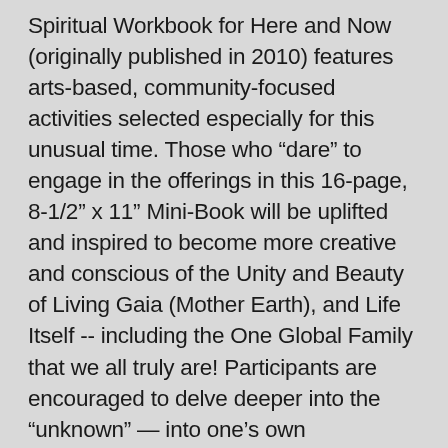Spiritual Workbook for Here and Now (originally published in 2010) features arts-based, community-focused activities selected especially for this unusual time. Those who “dare” to engage in the offerings in this 16-page, 8-1/2” x 11” Mini-Book will be uplifted and inspired to become more creative and conscious of the Unity and Beauty of Living Gaia (Mother Earth), and Life Itself -- including the One Global Family that we all truly are! Participants are encouraged to delve deeper into the "unknown" — into one’s own Unlimitedness, brimming with creative ideas to assist in Co-creating A Better World — A World That Works For All, in which greater Harmony, Peace, Joy and Well-being shall be commonplace amongst all! The Bridge to Oneness Mini-Book also includes an important, timely contribution from Frances Sanderson of the First Nations community. Semi-Finalist in Livegreen Toronto’s Innovation Awards